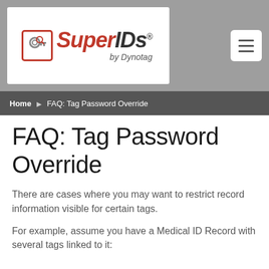[Figure (logo): SuperIDs by Dynotag logo — key icon in red bordered box, red italic 'Super' and dark italic 'IDs' text with registered trademark symbol, 'by Dynotag' subtitle]
Home ▶ FAQ: Tag Password Override
FAQ: Tag Password Override
There are cases where you may want to restrict record information visible for certain tags.
For example, assume you have a Medical ID Record with several tags linked to it: